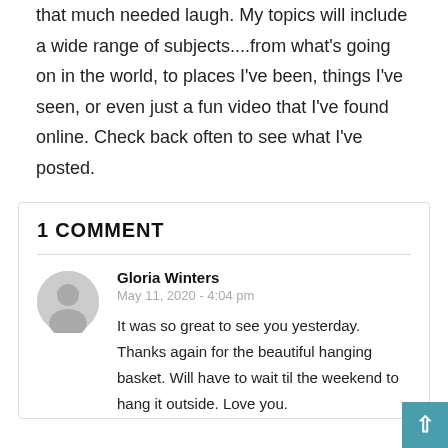that much needed laugh. My topics will include a wide range of subjects....from what's going on in the world, to places I've been, things I've seen, or even just a fun video that I've found online. Check back often to see what I've posted.
1 COMMENT
Gloria Winters
May 11, 2020 - 4:04 pm
It was so great to see you yesterday. Thanks again for the beautiful hanging basket. Will have to wait til the weekend to hang it outside. Love you.